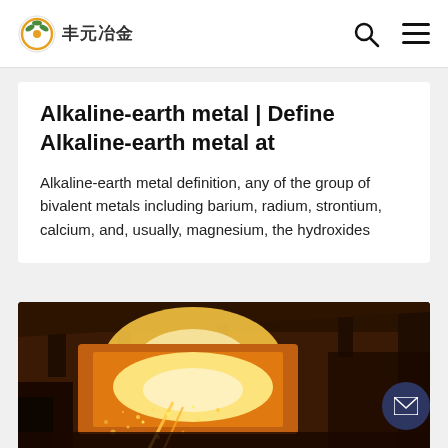丰元冶金
Alkaline-earth metal | Define Alkaline-earth metal at
Alkaline-earth metal definition, any of the group of bivalent metals including barium, radium, strontium, calcium, and, usually, magnesium, the hydroxides
[Figure (photo): Industrial metallurgy photo showing molten metal being poured in a furnace with sparks flying, warm orange tones]
How does a base react with the metals magnesium, zinc, and